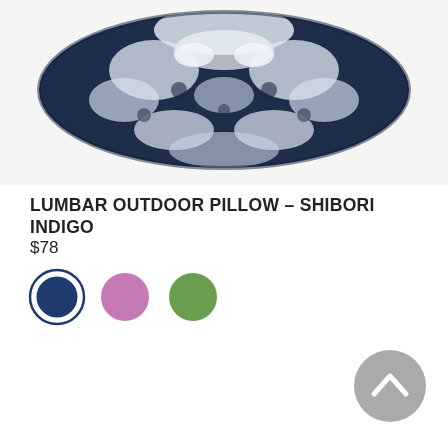[Figure (photo): Lumbar outdoor pillow with shibori indigo tie-dye pattern — navy blue and white abstract print on a rectangular lumbar pillow]
LUMBAR OUTDOOR PILLOW – SHIBORI INDIGO
$78
[Figure (infographic): Three circular color swatches: navy/indigo (selected, with double ring border), mauve/purple, and sage green]
[Figure (other): Back to top button — grey circle with upward chevron arrow]